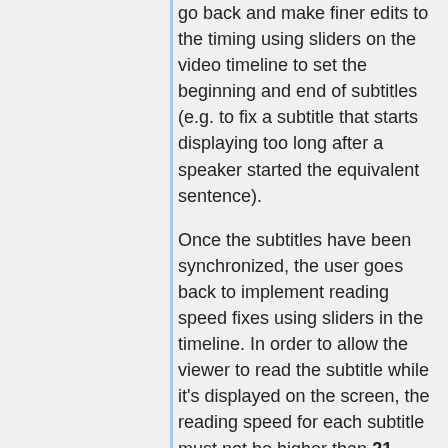go back and make finer edits to the timing using sliders on the video timeline to set the beginning and end of subtitles (e.g. to fix a subtitle that starts displaying too long after a speaker started the equivalent sentence).
Once the subtitles have been synchronized, the user goes back to implement reading speed fixes using sliders in the timeline. In order to allow the viewer to read the subtitle while it's displayed on the screen, the reading speed for each subtitle must not be higher than 21 characters per second. This speed information is displayed for every subtitle on Amara, and wherever this speed is exceeded, the transcriber can compress or reduce text (without changing the meaning) or/and extend the duration of the subtitle to fix the